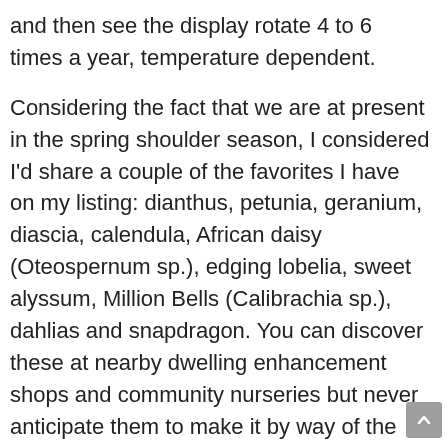and then see the display rotate 4 to 6 times a year, temperature dependent.
Considering the fact that we are at present in the spring shoulder season, I considered I'd share a couple of the favorites I have on my listing: dianthus, petunia, geranium, diascia, calendula, African daisy (Oteospernum sp.), edging lobelia, sweet alyssum, Million Bells (Calibrachia sp.), dahlias and snapdragon. You can discover these at nearby dwelling enhancement shops and community nurseries but never anticipate them to make it by way of the heat of our summers except you have a unique microclimate! You may have planted some of these in the late tumble of 2021, but now is when they will recuperate from colder temperatures and search excellent … right up until the temperatures get also heat.